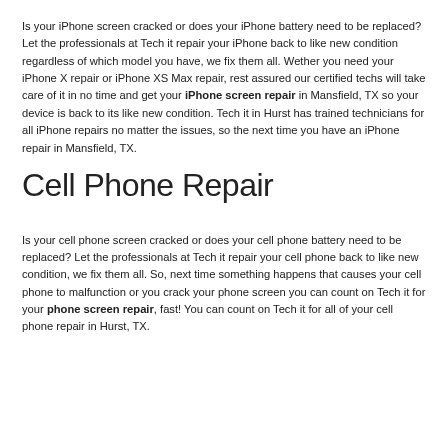Is your iPhone screen cracked or does your iPhone battery need to be replaced? Let the professionals at Tech it repair your iPhone back to like new condition regardless of which model you have, we fix them all. Wether you need your iPhone X repair or iPhone XS Max repair, rest assured our certified techs will take care of it in no time and get your iPhone screen repair in Mansfield, TX so your device is back to its like new condition. Tech it in Hurst has trained technicians for all iPhone repairs no matter the issues, so the next time you have an iPhone repair in Mansfield, TX.
Cell Phone Repair
Is your cell phone screen cracked or does your cell phone battery need to be replaced? Let the professionals at Tech it repair your cell phone back to like new condition, we fix them all. So, next time something happens that causes your cell phone to malfunction or you crack your phone screen you can count on Tech it for your phone screen repair, fast! You can count on Tech it for all of your cell phone repair in Hurst, TX.